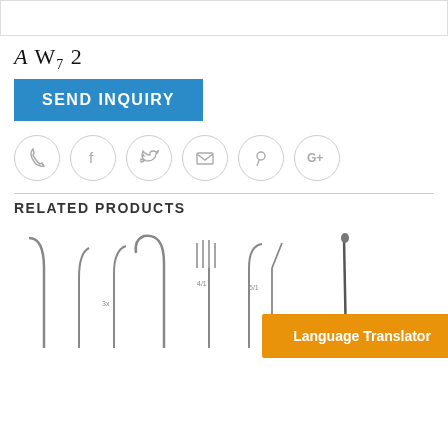A W7 2
SEND INQUIRY
[Figure (infographic): Six social sharing/contact icon circles: phone, facebook, twitter, email, pinterest, google+]
RELATED PRODUCTS
[Figure (photo): Medical surgical hook/retractor instruments shown side by side, multiple sizes]
[Figure (photo): Single surgical needle/instrument on right side]
Language Translator